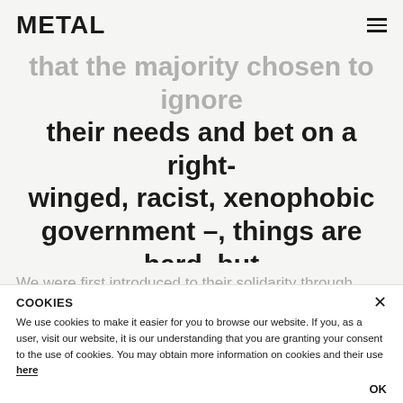METAL
that the majority chosen to ignore their needs and bet on a right-winged, racist, xenophobic government –, things are hard, but Fabrizio and his team shine a light of hope on humanity.
We were first introduced to their solidarity through Altaroma, Rome's fashion week, where designers and. During what seemed to be the brands' best novelties. However, there was a strong focus on initiatives that make the world a better place; in
COOKIES
We use cookies to make it easier for you to browse our website. If you, as a user, visit our website, it is our understanding that you are granting your consent to the use of cookies. You may obtain more information on cookies and their use here
OK